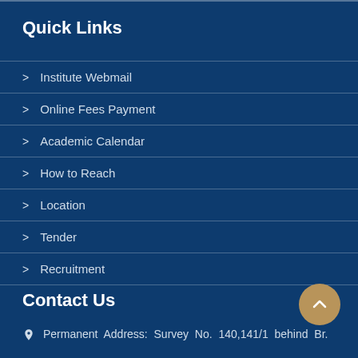Quick Links
Institute Webmail
Online Fees Payment
Academic Calendar
How to Reach
Location
Tender
Recruitment
Contact Us
Permanent Address: Survey No. 140,141/1 behind Br.